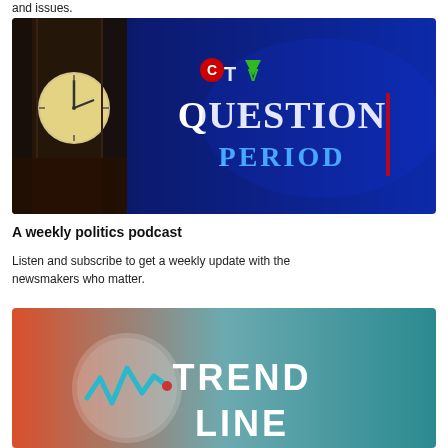and issues.
[Figure (photo): CTV Question Period logo on a dark blue background with a clock tower image on the left side]
A weekly politics podcast
Listen and subscribe to get a weekly update with the newsmakers who matter.
[Figure (photo): Trend Line podcast logo with a teal/orange gradient background, a circular icon with a zigzag chart line, and bold white text reading TREND LINE]